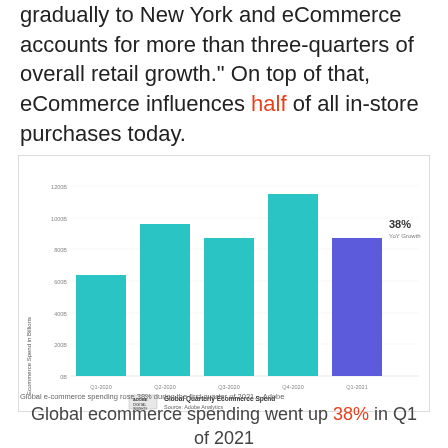gradually to New York and eCommerce accounts for more than three-quarters of overall retail growth." On top of that, eCommerce influences half of all in-store purchases today.
[Figure (bar-chart): Global Quarterly Ecommerce Spend]
Global e-commerce spending rose 38% during the first quarter of 2021. - Adobe
Global ecommerce spending went up 38% in Q1 of 2021